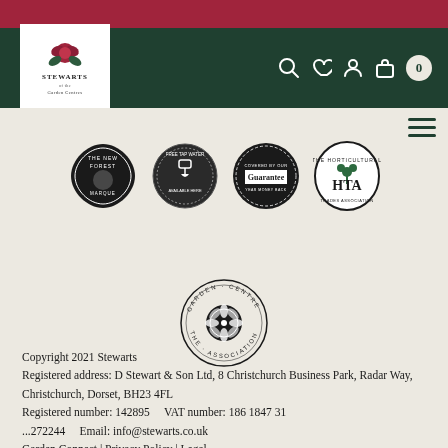[Figure (logo): Stewarts Garden Centres logo - rose graphic with text]
[Figure (infographic): Five circular/oval accreditation badges: The New Forest Marque, Free Tap Water Available Here, Guarantee seal, HTA Horticultural Trades Association, Garden Centre Association]
Copyright 2021 Stewarts
Registered address: D Stewart & Son Ltd, 8 Christchurch Business Park, Radar Way, Christchurch, Dorset, BH23 4FL
Registered number: 142895    VAT number: 186 1847 31
...272244    Email: info@stewarts.co.uk
Garden Connect | Privacy Policy | Legal